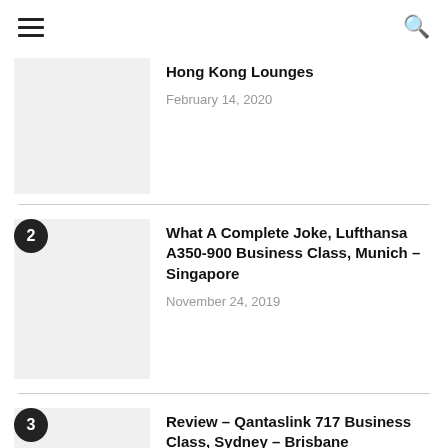☰  🔍
Hong Kong Lounges
February 14, 2020
2  What A Complete Joke, Lufthansa A350-900 Business Class, Munich – Singapore
November 24, 2019
3  Review – Qantaslink 717 Business Class, Sydney – Brisbane
November 29, 2019